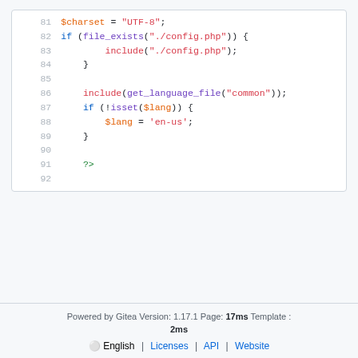Code block showing PHP lines 81-92: $charset = "UTF-8"; if (file_exists("./config.php")) { include("./config.php"); } include(get_language_file("common")); if (!isset($lang)) { $lang = 'en-us'; } ?>
Powered by Gitea Version: 1.17.1 Page: 17ms Template : 2ms | English | Licenses | API | Website